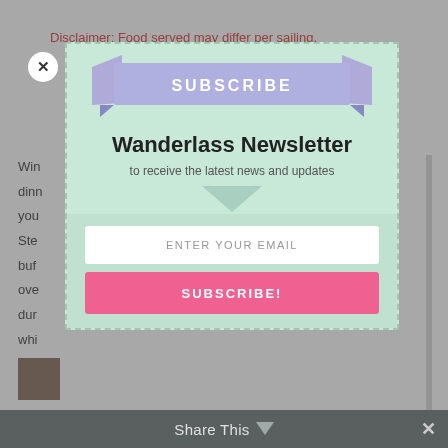Disclaimer: Food served may differ per sailing,
[Figure (screenshot): Newsletter subscription modal overlay on a webpage. Contains a purple ribbon banner with 'SUBSCRIBE', title 'Wanderlass Newsletter', subtitle 'to receive the latest news and updates', email input field, and pink SUBSCRIBE! button.]
Wanderlass Newsletter
to receive the latest news and updates
ENTER YOUR EMAIL
SUBSCRIBE!
Share This